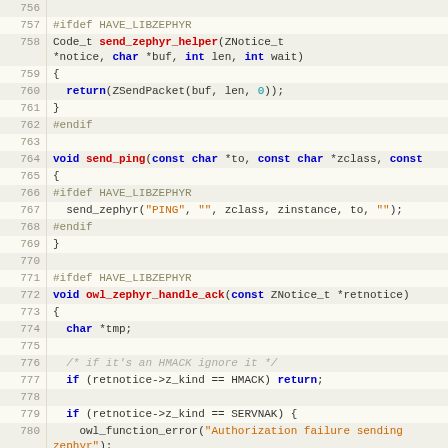[Figure (screenshot): Source code listing (C language) with line numbers 756–783, showing functions send_zephyr_helper, send_ping, and owl_zephyr_handle_ack with syntax highlighting on a pale yellow-green background.]